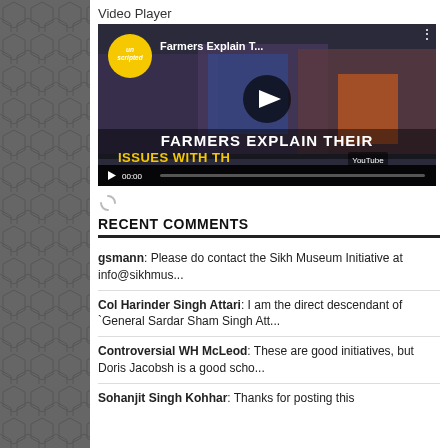Video Player
[Figure (screenshot): YouTube video player showing 'Farmers Explain T...' with unscripted badge, play button overlay, bottom text reading 'FARMERS EXPLAIN THEIR ISSUES WITH TH...' and video controls showing 00:00]
RECENT COMMENTS
gsmann: Please do contact the Sikh Museum Initiative at info@sikhmus...
Col Harinder Singh Attari: I am the direct descendant of `General Sardar Sham Singh Att...
Controversial WH McLeod: These are good initiatives, but Doris Jacobsh is a good scho...
Sohanjit Singh Kohhar: Thanks for posting this